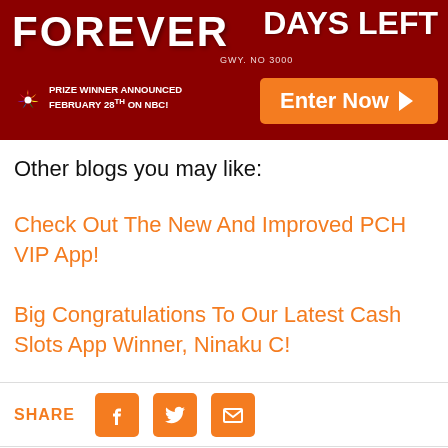[Figure (screenshot): PCH promotional banner with dark red background showing 'FOREVER' text, 'DAYS LEFT' text, 'GWY. NO 3000', NBC logo with 'PRIZE WINNER ANNOUNCED FEBRUARY 28TH ON NBC!' text, and orange 'Enter Now' button]
Other blogs you may like:
Check Out The New And Improved PCH VIP App!
Big Congratulations To Our Latest Cash Slots App Winner, Ninaku C!
SHARE [Facebook icon] [Twitter icon] [Email icon]